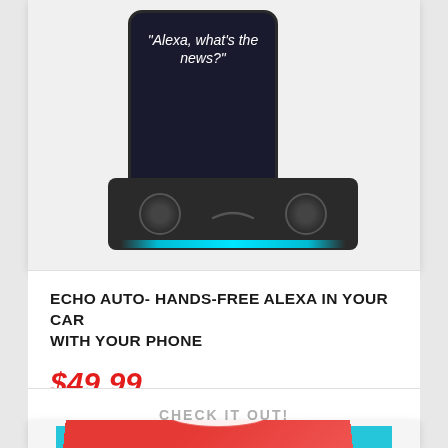[Figure (photo): Echo Auto device (dark rectangular speaker with blue light strip) shown next to a smartphone displaying 'Alexa, what's the news?' on screen]
ECHO AUTO- HANDS-FREE ALEXA IN YOUR CAR WITH YOUR PHONE
$49.99
CHECK IT OUT!
[Figure (photo): Nintendo Switch box partially visible at bottom of page]